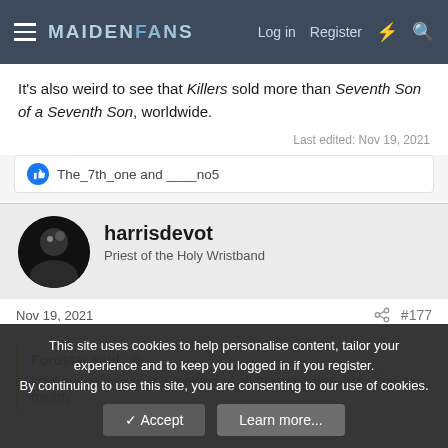MaidenFans — Log in  Register
It's also weird to see that Killers sold more than Seventh Son of a Seventh Son, worldwide.
Last edited: Nov 19, 2021
The_7th_one and ____no5
harrisdevot
Priest of the Holy Wristband
Nov 19, 2021  #177
Forostar said: ↑
I did not delve into the method of all these figures, but I find it mighty
This site uses cookies to help personalise content, tailor your experience and to keep you logged in if you register.
By continuing to use this site, you are consenting to our use of cookies.